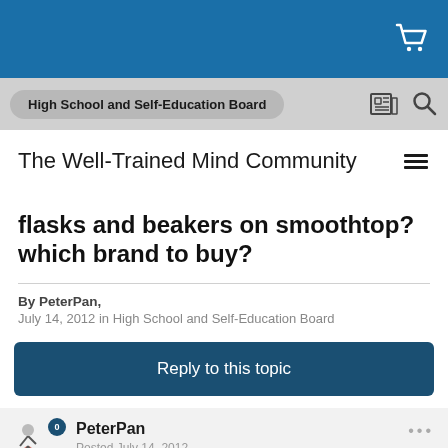High School and Self-Education Board
The Well-Trained Mind Community
flasks and beakers on smoothtop? which brand to buy?
By PeterPan, July 14, 2012 in High School and Self-Education Board
Reply to this topic
PeterPan Posted July 14, 2012